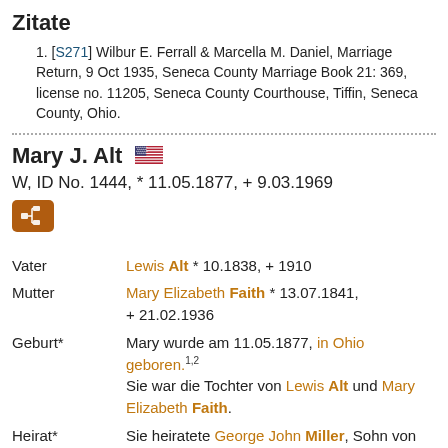Zitate
[S271] Wilbur E. Ferrall & Marcella M. Daniel, Marriage Return, 9 Oct 1935, Seneca County Marriage Book 21: 369, license no. 11205, Seneca County Courthouse, Tiffin, Seneca County, Ohio.
Mary J. Alt 🇺🇸
W, ID No. 1444, * 11.05.1877, + 9.03.1969
| Label | Value |
| --- | --- |
| Vater | Lewis Alt * 10.1838, + 1910 |
| Mutter | Mary Elizabeth Faith * 13.07.1841, + 21.02.1936 |
| Geburt* | Mary wurde am 11.05.1877, in Ohio geboren.1,2
Sie war die Tochter von Lewis Alt und Mary Elizabeth Faith. |
| Heirat* | Sie heiratete George John Miller, Sohn von John Miller und Elizabeth Seasly, am 27.10.1908 in Assumption Church, located in Reed Township, Seneca County, Ohio.3 |